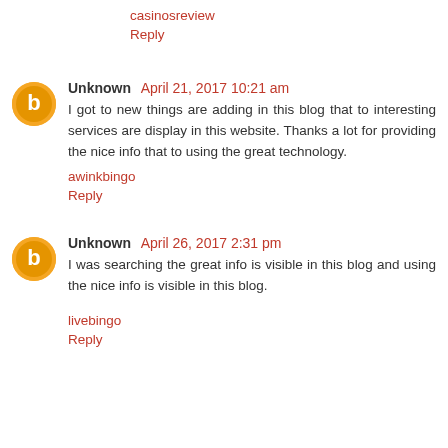casinosreview
Reply
Unknown April 21, 2017 10:21 am
I got to new things are adding in this blog that to interesting services are display in this website. Thanks a lot for providing the nice info that to using the great technology.
awinkbingo
Reply
Unknown April 26, 2017 2:31 pm
I was searching the great info is visible in this blog and using the nice info is visible in this blog.
livebingo
Reply